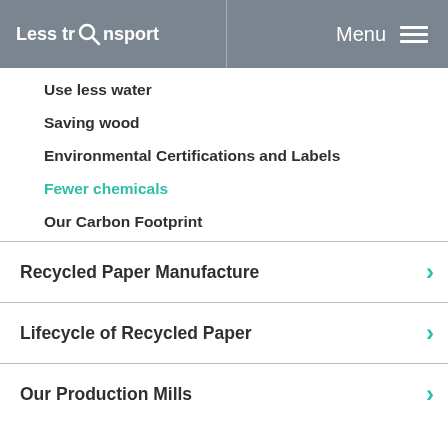Less transport  Menu
Use less water
Saving wood
Environmental Certifications and Labels
Fewer chemicals
Our Carbon Footprint
Recycled Paper Manufacture
Lifecycle of Recycled Paper
Our Production Mills